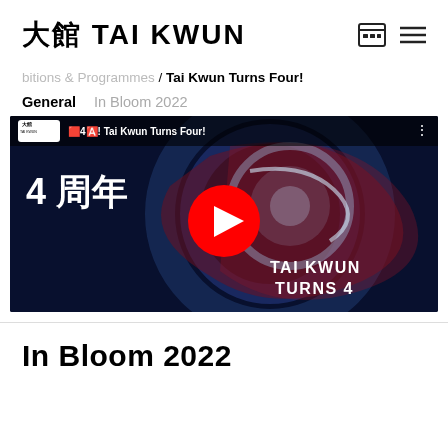大館 TAI KWUN
bitions & Programmes / Tai Kwun Turns Four!
General    In Bloom 2022
[Figure (screenshot): YouTube video thumbnail for '4周年 Tai Kwun Turns Four!' showing a dark blue swirling background with a red YouTube play button in the center, text '4 周年' on the left, and 'TAI KWUN TURNS 4' in white at the bottom right.]
In Bloom 2022